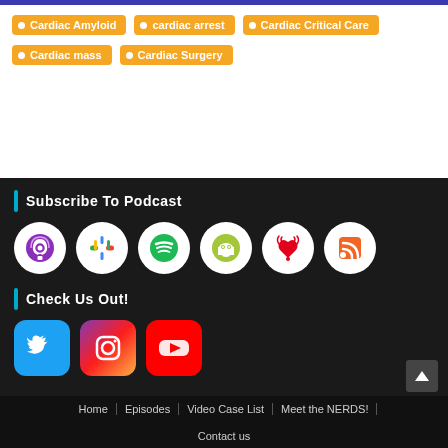Cardiac Amyloid
cardiac arrest
Cardiac Critical Care
Cardiac mass
Cardiac Surgery
Subscribe To Podcast
[Figure (infographic): Six podcast platform icons in white circles: Apple Podcasts (purple), Google Podcasts (multicolor), Spotify (green), Android/Podcast Addict (green), iHeartRadio (red heart), RSS (orange)]
Check Us Out!
[Figure (infographic): Three social media icons: Twitter (blue), Instagram (gradient pink/purple), YouTube (red)]
Home | Episodes | Video Case List | Meet the NERDS! | Contact us